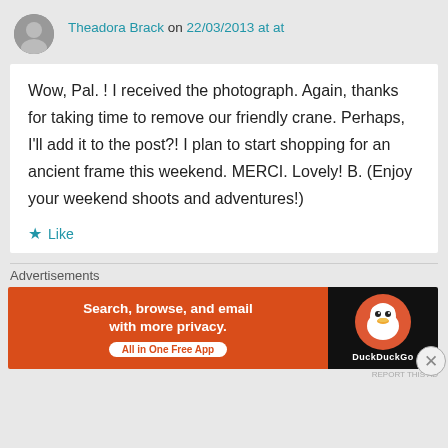Theadora Brack on 22/03/2013 at at
Wow, Pal. ! I received the photograph. Again, thanks for taking time to remove our friendly crane. Perhaps, I'll add it to the post?! I plan to start shopping for an ancient frame this weekend. MERCI. Lovely! B. (Enjoy your weekend shoots and adventures!)
Like
Advertisements
[Figure (screenshot): DuckDuckGo advertisement banner: orange background on left with text 'Search, browse, and email with more privacy. All in One Free App', black background on right with DuckDuckGo duck logo]